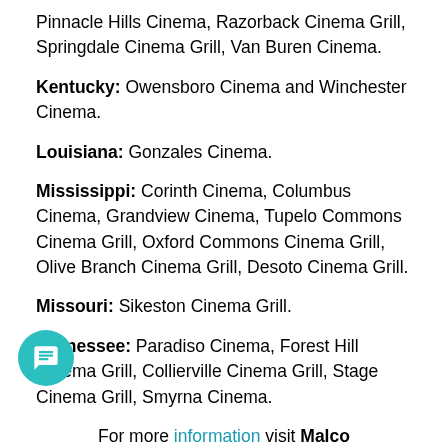Pinnacle Hills Cinema, Razorback Cinema Grill, Springdale Cinema Grill, Van Buren Cinema.
Kentucky: Owensboro Cinema and Winchester Cinema.
Louisiana: Gonzales Cinema.
Mississippi: Corinth Cinema, Columbus Cinema, Grandview Cinema, Tupelo Commons Cinema Grill, Oxford Commons Cinema Grill, Olive Branch Cinema Grill, Desoto Cinema Grill.
Missouri: Sikeston Cinema Grill.
Tennessee: Paradiso Cinema, Forest Hill Cinema Grill, Collierville Cinema Grill, Stage Cinema Grill, Smyrna Cinema.
For more information visit Malco Theatres in Kids Summer Film Fest.